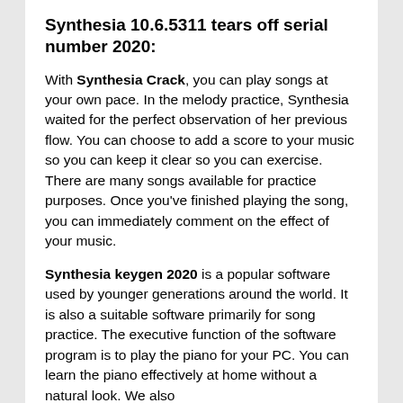Synthesia 10.6.5311 tears off serial number 2020:
With Synthesia Crack, you can play songs at your own pace. In the melody practice, Synthesia waited for the perfect observation of her previous flow. You can choose to add a score to your music so you can keep it clear so you can exercise. There are many songs available for practice purposes. Once you've finished playing the song, you can immediately comment on the effect of your music.
Synthesia keygen 2020 is a popular software used by younger generations around the world. It is also a suitable software primarily for song practice. The executive function of the software program is to play the piano for your PC. You can learn the piano effectively at home without a natural look. We also